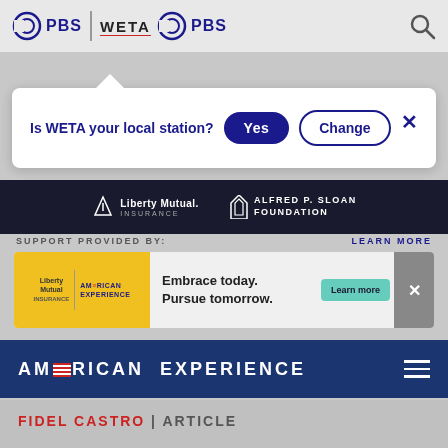[Figure (screenshot): PBS | WETA PBS website header navigation bar with logos and search icon]
[Figure (screenshot): Popup dialog asking 'Is WETA your local station?' with Yes and Change buttons and a close X]
[Figure (screenshot): Dark sponsor bar showing Liberty Mutual Insurance and Alfred P. Sloan Foundation logos]
SUPPORT PROVIDED BY:
LEARN MORE
[Figure (screenshot): Advertisement banner: Liberty Mutual + American Experience yellow banner with text 'Embrace today. Pursue tomorrow.' and Learn more button]
[Figure (screenshot): American Experience navigation bar with logo and hamburger menu]
FIDEL CASTRO | ARTICLE